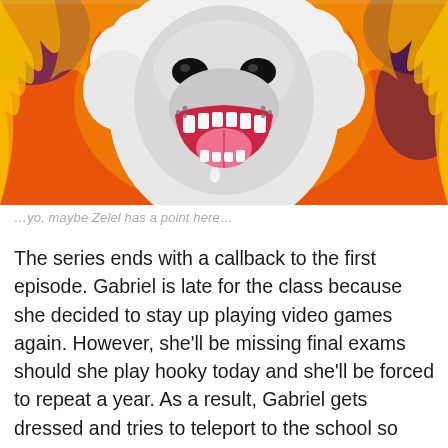[Figure (illustration): Anime-style illustration of a large white fluffy dog or wolf-like creature roaring with mouth open showing teeth and tongue, surrounded by orange and red flames and purple/blue background smoke. The creature has an intense angry expression with dark eyes.]
…yo, maybe Zelel has a point here…
The series ends with a callback to the first episode. Gabriel is late for the class because she decided to stay up playing video games again. However, she'll be missing final exams should she play hooky today and she'll be forced to repeat a year. As a result, Gabriel gets dressed and tries to teleport to the school so she'll make it in time. Unfortunately for Gab, she sends her skirt to her desk this time. Welp.